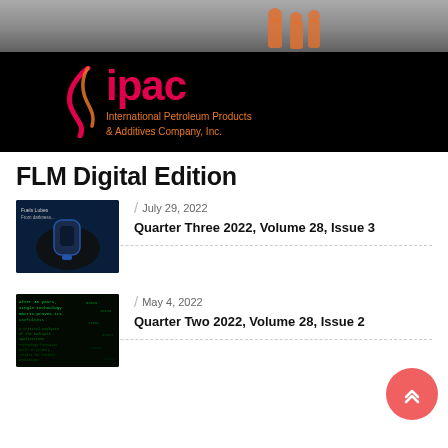[Figure (logo): IPAC (International Petroleum Products & Additives Company, Inc.) banner with black background, pink/red swoosh logo, red IPAC wordmark, orange tagline text, and workers on road photo at top]
FLM Digital Edition
[Figure (photo): Magazine cover thumbnail with blue EV charging plug against dark background]
July 29, 2022
Quarter Three 2022, Volume 28, Issue 3
[Figure (photo): Magazine cover thumbnail with green matrix/code text on black background, reading 'After 30 years, single technology matrix proves its usefulness']
May 4, 2022
Quarter Two 2022, Volume 28, Issue 2